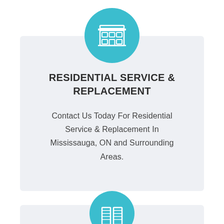[Figure (illustration): Teal circular icon with a white building/house icon representing residential service]
RESIDENTIAL SERVICE & REPLACEMENT
Contact Us Today For Residential Service & Replacement In Mississauga, ON and Surrounding Areas.
[Figure (illustration): Teal circular icon with a white commercial building icon representing commercial service]